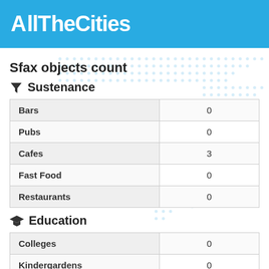AllTheCities
Sfax objects count
Sustenance
|  |  |
| --- | --- |
| Bars | 0 |
| Pubs | 0 |
| Cafes | 3 |
| Fast Food | 0 |
| Restaurants | 0 |
Education
|  |  |
| --- | --- |
| Colleges | 0 |
| Kindergardens | 0 |